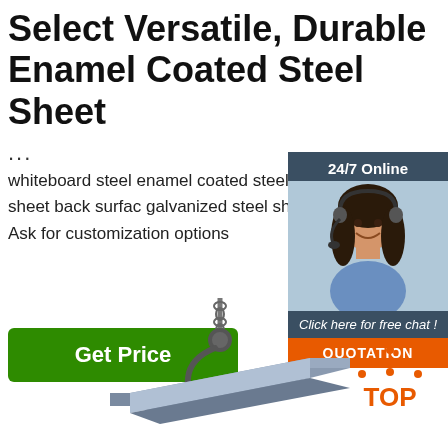Select Versatile, Durable Enamel Coated Steel Sheet
...
whiteboard steel enamel coated steel sheet,magnetic board sheet back surface galvanized steel sheet roll $1,600.00-$1, Ton Ask for customization options
[Figure (other): Green Get Price button]
[Figure (photo): 24/7 Online chat widget with woman wearing headset, Click here for free chat!, QUOTATION button]
[Figure (photo): Steel sheet being lifted by crane hook]
[Figure (logo): TOP badge with orange dots forming triangle above orange TOP text]